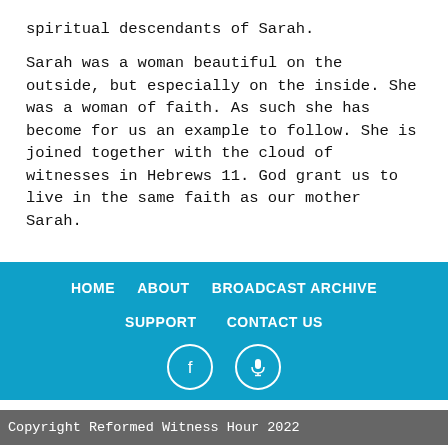spiritual descendants of Sarah.
Sarah was a woman beautiful on the outside, but especially on the inside. She was a woman of faith. As such she has become for us an example to follow. She is joined together with the cloud of witnesses in Hebrews 11. God grant us to live in the same faith as our mother Sarah.
HOME  ABOUT  BROADCAST ARCHIVE  SUPPORT  CONTACT US
Copyright Reformed Witness Hour 2022